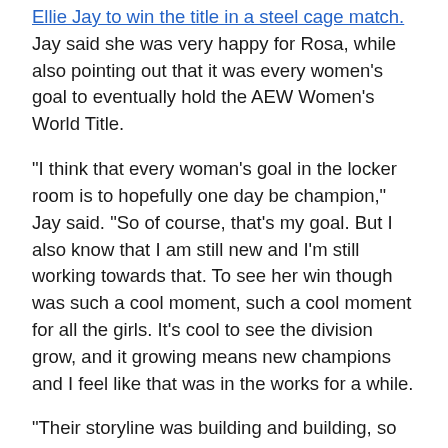Ellie Jay to win the title in a steel cage match. Jay said she was very happy for Rosa, while also pointing out that it was every women's goal to eventually hold the AEW Women's World Title.
“I think that every woman’s goal in the locker room is to hopefully one day be champion,” Jay said. “So of course, that’s my goal. But I also know that I am still new and I’m still working towards that. To see her win though was such a cool moment, such a cool moment for all the girls. It’s cool to see the division grow, and it growing means new champions and I feel like that was in the works for a while.
“Their storyline was building and building, so it’s really cool, and that’s my favorite part of wrestling, is storylines. So to see its payoff was honestly an incredible moment, and I think everyone’s super happy for her. She’s a hard worker and does a lot of things and wrestling is one for...